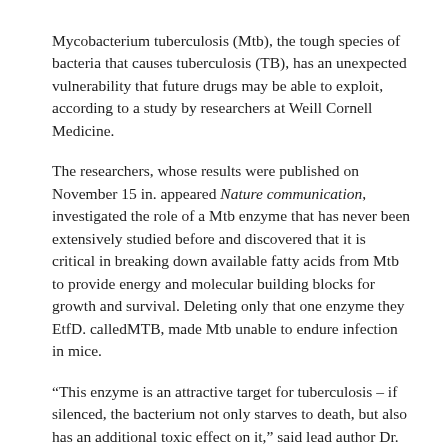Mycobacterium tuberculosis (Mtb), the tough species of bacteria that causes tuberculosis (TB), has an unexpected vulnerability that future drugs may be able to exploit, according to a study by researchers at Weill Cornell Medicine.
The researchers, whose results were published on November 15 in. appeared Nature communication, investigated the role of a Mtb enzyme that has never been extensively studied before and discovered that it is critical in breaking down available fatty acids from Mtb to provide energy and molecular building blocks for growth and survival. Deleting only that one enzyme they EtfD. calledMTB, made Mtb unable to endure infection in mice.
“This enzyme is an attractive target for tuberculosis – if silenced, the bacterium not only starves to death, but also has an additional toxic effect on it,” said lead author Dr. Sabine Ehrt, Professor of Microbiology and Immunology at Weill Cornell Medicine.